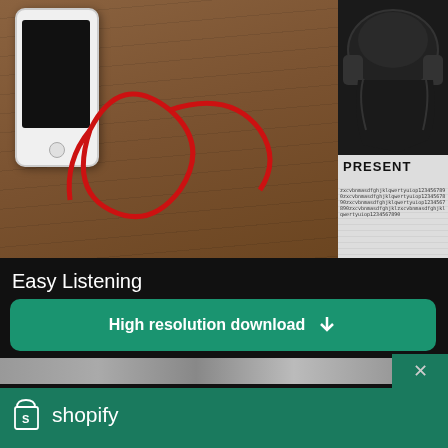[Figure (photo): Photo of a white smartphone with red earphone cables on a wooden surface, next to a black headphones and a graphic poster with text 'PRESENT']
Easy Listening
High resolution download ↓
[Figure (photo): Partially visible blurred image strip below the download button]
[Figure (logo): Shopify logo - white shopping bag icon with S and 'shopify' text in white]
Need an online store for your business?
Start free trial